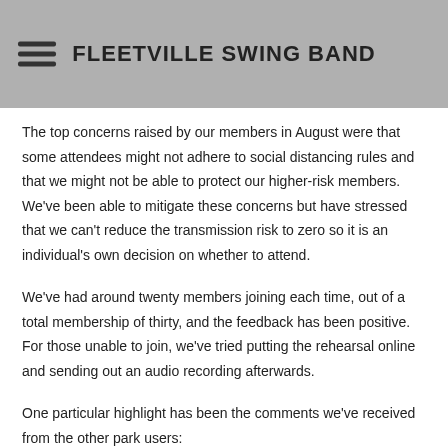FLEETVILLE SWING BAND
The top concerns raised by our members in August were that some attendees might not adhere to social distancing rules and that we might not be able to protect our higher-risk members. We've been able to mitigate these concerns but have stressed that we can't reduce the transmission risk to zero so it is an individual's own decision on whether to attend.
We've had around twenty members joining each time, out of a total membership of thirty, and the feedback has been positive. For those unable to join, we've tried putting the rehearsal online and sending out an audio recording afterwards.
One particular highlight has been the comments we've received from the other park users: